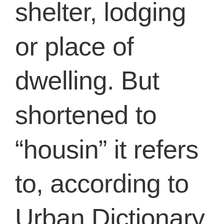shelter, lodging or place of dwelling. But shortened to “housin” it refers to, according to Urban Dictionary, a show of dominance or